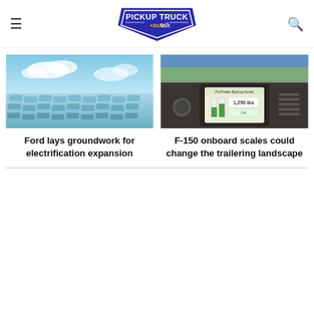PICKUP TRUCK +SUV talk
[Figure (photo): Aerial view of a large solar panel farm with blue sky and clouds]
Ford lays groundwork for electrification expansion
[Figure (photo): Interior dashboard of a Ford F-150 showing an onboard infotainment screen with a scale/trailering interface]
F-150 onboard scales could change the trailering landscape